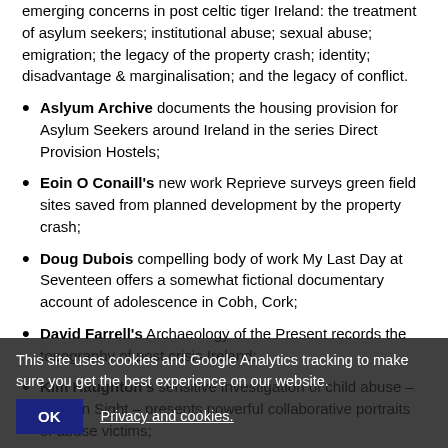emerging concerns in post celtic tiger Ireland: the treatment of asylum seekers; institutional abuse; sexual abuse; emigration; the legacy of the property crash; identity; disadvantage & marginalisation; and the legacy of conflict.
Aslyum Archive documents the housing provision for Asylum Seekers around Ireland in the series Direct Provision Hostels;
Eoin O Conaill's new work Reprieve surveys green field sites saved from planned development by the property crash;
Doug Dubois compelling body of work My Last Day at Seventeen offers a somewhat fictional documentary account of adolescence in Cobh, Cork;
David Farrell's Archaeology of the Present records the topography of post crisis Ireland;
Kim Haughton's sensitive investigation of child abuse – In Plain Sight – presents powerful collaborative portraits of abuse victims;
Paddy Kelly's Bogland photographs of IRA training sites reflect his attempt to emotionally identify with his father while addressing issues of identity and adolescence.
This site uses cookies and Google Analytics tracking to make sure you get the best experience on our website.
OK    Privacy and cookies.